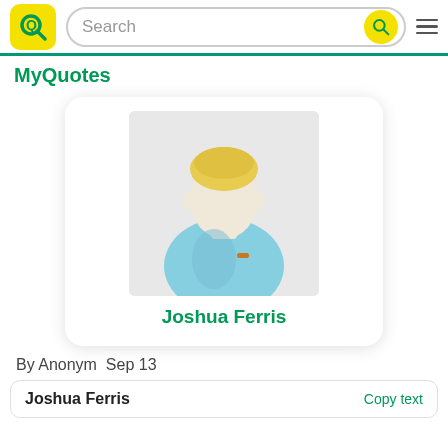[Figure (screenshot): App header with yellow Q logo, search bar with magnifying glass button, and hamburger menu icon]
MyQuotes
[Figure (illustration): Profile card with default avatar (blond male silhouette in light blue shirt on grey background) and name Joshua Ferris in green]
By Anonym  Sep 13
Joshua Ferris    Copy text